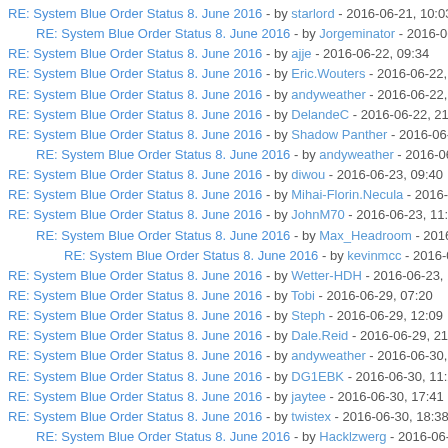RE: System Blue Order Status 8. June 2016 - by starlord - 2016-06-21, 10:03
RE: System Blue Order Status 8. June 2016 - by Jorgeminator - 2016-06-2...
RE: System Blue Order Status 8. June 2016 - by ajje - 2016-06-22, 09:34
RE: System Blue Order Status 8. June 2016 - by Eric.Wouters - 2016-06-22, 1...
RE: System Blue Order Status 8. June 2016 - by andyweather - 2016-06-22, 1...
RE: System Blue Order Status 8. June 2016 - by DelandeC - 2016-06-22, 21:...
RE: System Blue Order Status 8. June 2016 - by Shadow Panther - 2016-06-2...
RE: System Blue Order Status 8. June 2016 - by andyweather - 2016-06-23...
RE: System Blue Order Status 8. June 2016 - by diwou - 2016-06-23, 09:40
RE: System Blue Order Status 8. June 2016 - by Mihai-Florin.Necula - 2016-0...
RE: System Blue Order Status 8. June 2016 - by JohnM70 - 2016-06-23, 11:1...
RE: System Blue Order Status 8. June 2016 - by Max_Headroom - 2016-06...
RE: System Blue Order Status 8. June 2016 - by kevinmcc - 2016-06-29...
RE: System Blue Order Status 8. June 2016 - by Wetter-HDH - 2016-06-23, 1...
RE: System Blue Order Status 8. June 2016 - by Tobi - 2016-06-29, 07:20
RE: System Blue Order Status 8. June 2016 - by Steph - 2016-06-29, 12:09
RE: System Blue Order Status 8. June 2016 - by Dale.Reid - 2016-06-29, 21:...
RE: System Blue Order Status 8. June 2016 - by andyweather - 2016-06-30, 0...
RE: System Blue Order Status 8. June 2016 - by DG1EBK - 2016-06-30, 11:2...
RE: System Blue Order Status 8. June 2016 - by jaytee - 2016-06-30, 17:41
RE: System Blue Order Status 8. June 2016 - by twistex - 2016-06-30, 18:38
RE: System Blue Order Status 8. June 2016 - by Hacklzwerg - 2016-06-30,...
RE: System Blue Order Status 8. June 2016 - by Tobi - 2016-07-01, 23:10
RE: System Blue Order Status 8. June 2016 - by kevinmcc - 2016-07-02, 05:1...
RE: System Blue Order Status 8. June 2016 - by ajje - 2016-07-04, 07:34